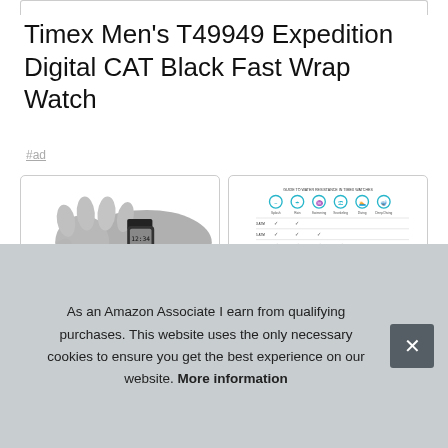Timex Men's T49949 Expedition Digital CAT Black Fast Wrap Watch
#ad
[Figure (illustration): Illustration of a wrist wearing the Timex T49949 digital watch with black band]
[Figure (table-as-image): Specification comparison table for Timex watch features with teal/blue icons across the top]
Tim... (truncated by cookie banner) Stylish and dependable watch with Expedition back... resi... wat... for s...
As an Amazon Associate I earn from qualifying purchases. This website uses the only necessary cookies to ensure you get the best experience on our website. More information